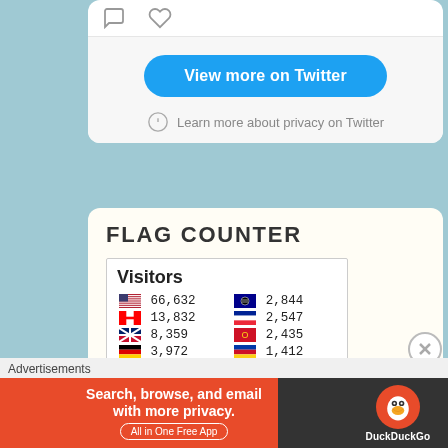[Figure (screenshot): Twitter widget showing icons (comment and heart), a blue 'View more on Twitter' button, and a privacy notice with info icon]
FLAG COUNTER
[Figure (screenshot): Flag Counter widget showing visitor counts by country: US 66,632; Canada 13,832; UK 8,359; Germany 3,972; India 3,892; AU 2,844; France 2,547; China 2,435; Philippines 1,412; Brazil 1,287]
Advertisements
[Figure (screenshot): DuckDuckGo advertisement banner: 'Search, browse, and email with more privacy. All in One Free App' with DuckDuckGo logo on dark right panel]